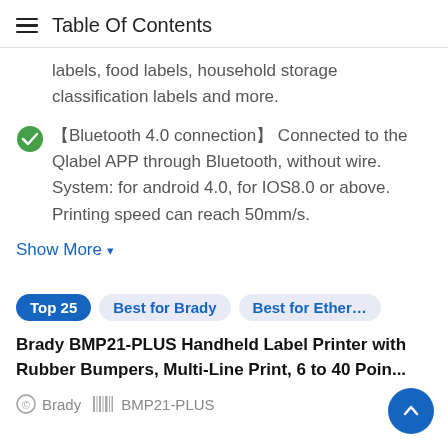Table Of Contents
labels, food labels, household storage classification labels and more.
【Bluetooth 4.0 connection】 Connected to the Qlabel APP through Bluetooth, without wire. System: for android 4.0, for IOS8.0 or above. Printing speed can reach 50mm/s.
Show More ▾
Top 25   Best for Brady   Best for Ether…
Brady BMP21-PLUS Handheld Label Printer with Rubber Bumpers, Multi-Line Print, 6 to 40 Poin...
Brady   BMP21-PLUS